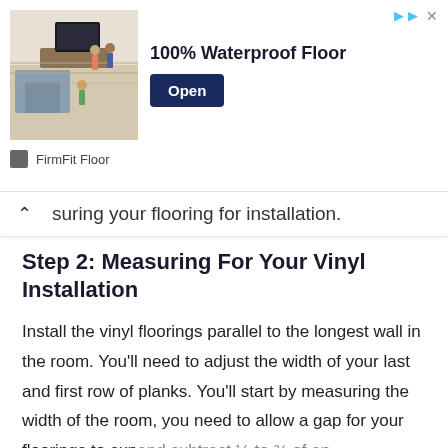[Figure (infographic): Advertisement banner for FirmFit Floor showing a living room with vinyl flooring. Text reads '100% Waterproof Floor' with an 'Open' button. Brand name 'FirmFit Floor' shown below.]
…suring your flooring for installation.
Step 2: Measuring For Your Vinyl Installation
Install the vinyl floorings parallel to the longest wall in the room. You'll need to adjust the width of your last and first row of planks. You'll start by measuring the width of the room, you need to allow a gap for your floorings to expand and subtract ¼ to ¾ of an…